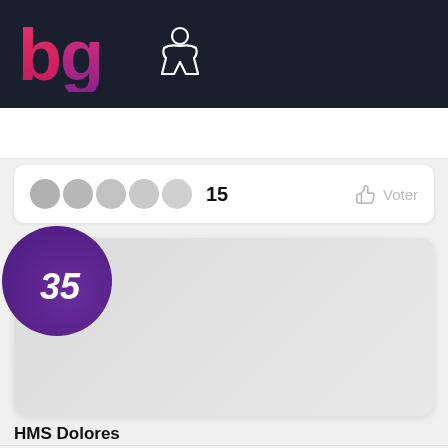bg [logo] [meeple icon]
15
Voter
[Figure (screenshot): Game card with rank badge showing number 35, grey placeholder image area]
HMS Dolores